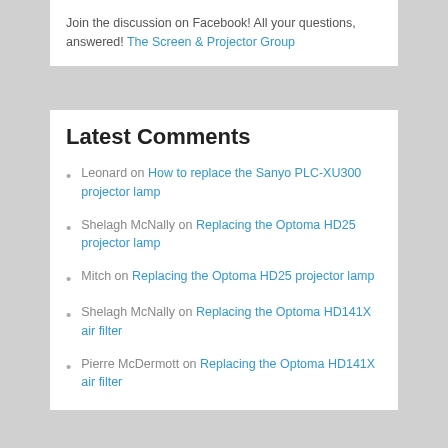Join the discussion on Facebook! All your questions, answered! The Screen & Projector Group
Latest Comments
Leonard on How to replace the Sanyo PLC-XU300 projector lamp
Shelagh McNally on Replacing the Optoma HD25 projector lamp
Mitch on Replacing the Optoma HD25 projector lamp
Shelagh McNally on Replacing the Optoma HD141X air filter
Pierre McDermott on Replacing the Optoma HD141X air filter